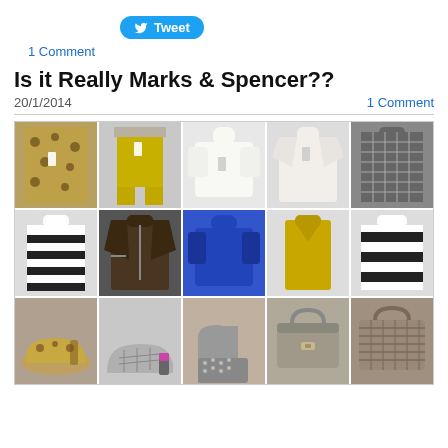[Figure (other): Twitter Tweet button]
1 Comment
Is it Really Marks & Spencer??
20/1/2014
1 Comment
[Figure (photo): Grid of 15 clothing and accessory photos from Marks & Spencer store, arranged in 3 rows of 5. Top row: leopard print top, yellow trousers, white sweater, white blazer, grey patterned top. Middle row: striped top, brown leather jacket, blue sweater, yellow gilet, striped jumper. Bottom row: leopard print shoes, patterned heels, studded ankle boots, grey bag, textured bag.]